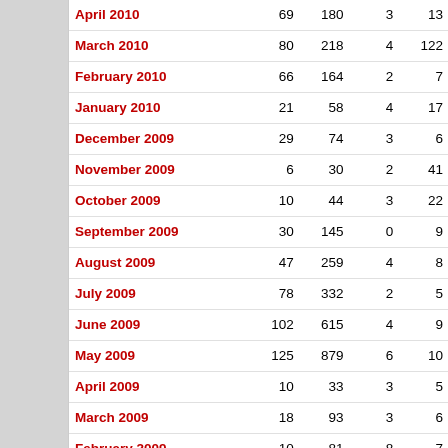| Month | Col1 | Col2 | Col3 | Col4 |
| --- | --- | --- | --- | --- |
| April 2010 | 69 | 180 | 3 | 13 |
| March 2010 | 80 | 218 | 4 | 122 |
| February 2010 | 66 | 164 | 2 | 7 |
| January 2010 | 21 | 58 | 4 | 17 |
| December 2009 | 29 | 74 | 3 | 6 |
| November 2009 | 6 | 30 | 2 | 41 |
| October 2009 | 10 | 44 | 3 | 22 |
| September 2009 | 30 | 145 | 0 | 9 |
| August 2009 | 47 | 259 | 4 | 8 |
| July 2009 | 78 | 332 | 2 | 5 |
| June 2009 | 102 | 615 | 4 | 9 |
| May 2009 | 125 | 879 | 6 | 10 |
| April 2009 | 10 | 33 | 3 | 5 |
| March 2009 | 18 | 93 | 3 | 6 |
| February 2009 | 10 | 81 | 8 | 7 |
| January 2009 | 11 | 77 | 1 | 11 |
| December 2008 | 6 | 72 | 3 | 7 |
| November 2008 | 27 | 164 | 8 | 9 |
| October 2008 | 9 | 99 | 2 | 16 |
| September 2008 | 6 | 38 | 4 | 8 |